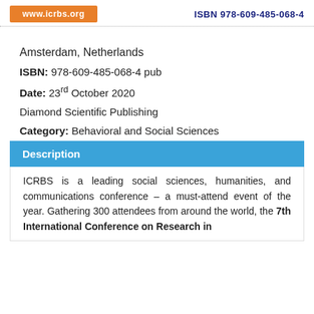www.icrbs.org   ISBN 978-609-485-068-4
Amsterdam, Netherlands
ISBN: 978-609-485-068-4 pub
Date: 23rd October 2020
Diamond Scientific Publishing
Category: Behavioral and Social Sciences
Description
ICRBS is a leading social sciences, humanities, and communications conference – a must-attend event of the year. Gathering 300 attendees from around the world, the 7th International Conference on Research in Behavioral and Social Sciences will be...